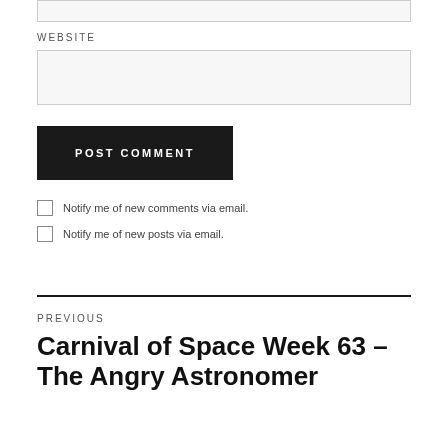WEBSITE
POST COMMENT
Notify me of new comments via email.
Notify me of new posts via email.
PREVIOUS
Carnival of Space Week 63 – The Angry Astronomer